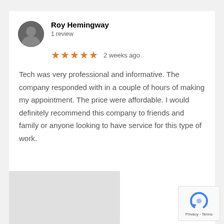[Figure (photo): Circular avatar/profile photo of Roy Hemingway, dark silhouette image]
Roy Hemingway
1 review
[Figure (other): 5 orange stars rating followed by '2 weeks ago']
Tech was very professional and informative. The company responded with in a couple of hours of making my appointment. The price were affordable. I would definitely recommend this company to friends and family or anyone looking to have service for this type of work.
[Figure (other): Gray placeholder rectangle for next review card]
[Figure (other): reCAPTCHA widget box with Privacy and Terms links]